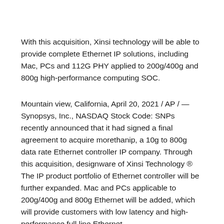With this acquisition, Xinsi technology will be able to provide complete Ethernet IP solutions, including Mac, PCs and 112G PHY applied to 200g/400g and 800g high-performance computing SOC.
Mountain view, California, April 20, 2021 / AP / — Synopsys, Inc., NASDAQ Stock Code: SNPs recently announced that it had signed a final agreement to acquire morethanip, a 10g to 800g data rate Ethernet controller IP company. Through this acquisition, designware of Xinsi Technology ® The IP product portfolio of Ethernet controller will be further expanded. Mac and PCs applicable to 200g/400g and 800g Ethernet will be added, which will provide customers with low latency and high-performance full line Ethernet